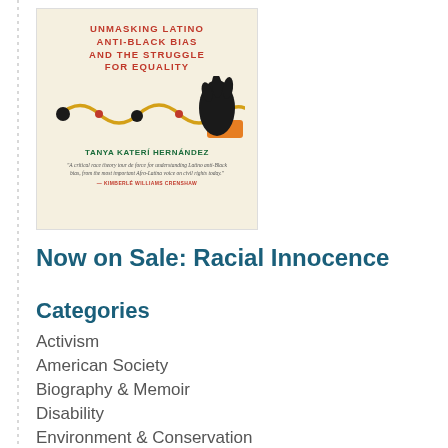[Figure (illustration): Book cover for 'Racial Innocence: Unmasking Latino Anti-Black Bias and the Struggle for Equality' by Tanya Katerí Hernández. Cream/beige background with red title text, green author name, a gold chain motif with black dots and red beads, a black hand with orange cuff reaching from the right, and a quote by Kimberlé Williams Crenshaw.]
Now on Sale: Racial Innocence
Categories
Activism
American Society
Biography & Memoir
Disability
Environment & Conservation
Feminism & Gender
History